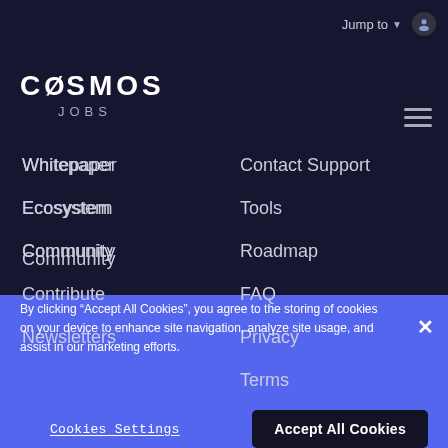COSMOS JOBS
Jump to
Whitepaper
Contact Support
Ecosystem
Tools
Community
Roadmap
Contribute
FAQ
Newsletters
Privacy
Terms
By clicking “Accept All Cookies”, you agree to the storing of cookies on your device to enhance site navigation, analyze site usage, and assist in our marketing efforts.
Cookies Settings
Accept All Cookies